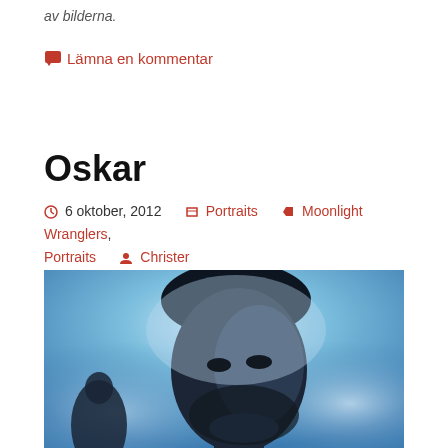av bilderna.
💬 Lämna en kommentar
Oskar
⏱ 6 oktober, 2012   📁 Portraits   🏷 Moonlight Wranglers, Portraits   👤 Christer
[Figure (photo): Portrait photo of a bearded man with dark hair against a bright blue sky background, dramatic silhouette-like lighting from behind making his face partially shadowed.]